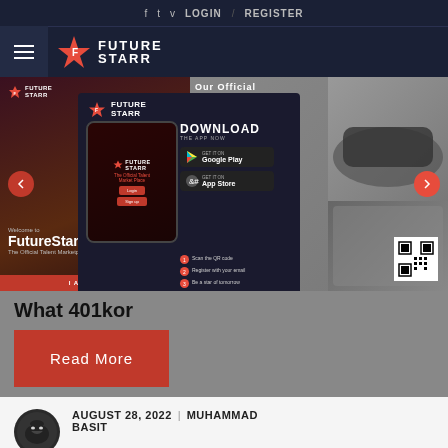f  t  v  LOGIN  /  REGISTER
[Figure (logo): FutureStarr logo with hamburger menu and star icon]
[Figure (screenshot): FutureStarr website slider with download app popup overlay showing Google Play and App Store buttons, QR code, and steps to register]
What 401kor
Read More
AUGUST 28, 2022  |  MUHAMMAD BASIT